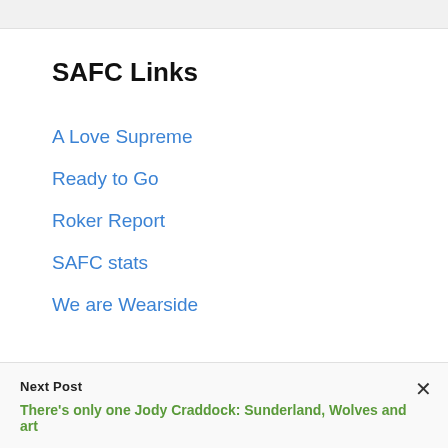SAFC Links
A Love Supreme
Ready to Go
Roker Report
SAFC stats
We are Wearside
Next Post
There's only one Jody Craddock: Sunderland, Wolves and art